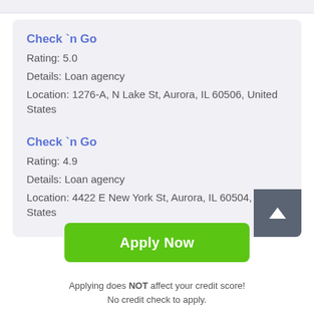Check `n Go
Rating: 5.0
Details: Loan agency
Location: 1276-A, N Lake St, Aurora, IL 60506, United States
Check `n Go
Rating: 4.9
Details: Loan agency
Location: 4422 E New York St, Aurora, IL 60504, United States
Apply Now
Applying does NOT affect your credit score! No credit check to apply.